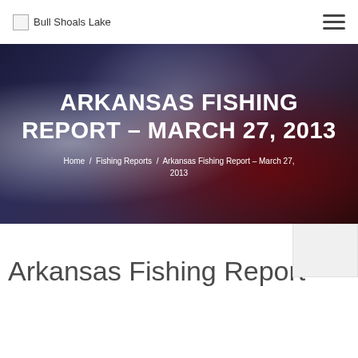Bull Shoals Lake
ARKANSAS FISHING REPORT – MARCH 27, 2013
Home / Fishing Reports / Arkansas Fishing Report – March 27, 2013
Arkansas Fishing Report